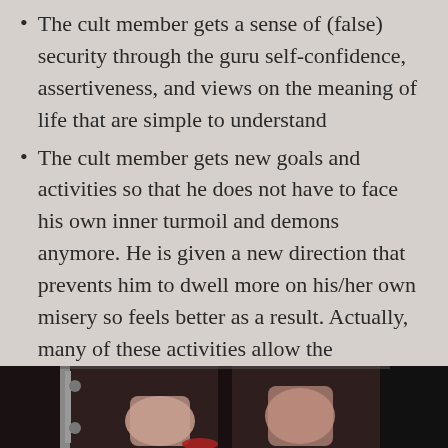The cult member gets a sense of (false) security through the guru self-confidence, assertiveness, and views on the meaning of life that are simple to understand
The cult member gets new goals and activities so that he does not have to face his own inner turmoil and demons anymore. He is given a new direction that prevents him to dwell more on his/her own misery so feels better as a result. Actually, many of these activities allow the individual to develop his creativity far more than what he was doing in the past. The caveat is that the guru is the one benefiting financially for the disciple newfound creativity, not the individual
[Figure (photo): A dark photo showing hands raised against what appears to be a door or barrier, partially visible at bottom of page]